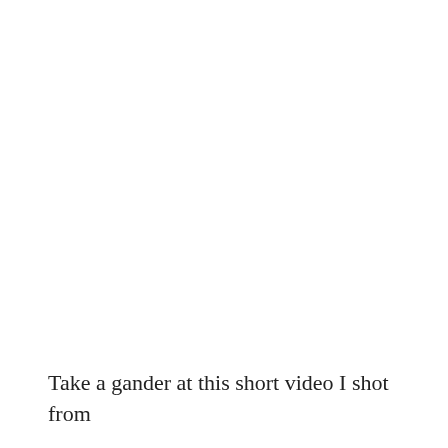Take a gander at this short video I shot from